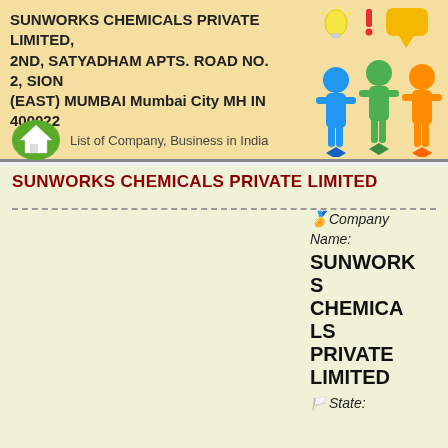SUNWORKS CHEMICALS PRIVATE LIMITED, 2ND, SATYADHAM APTS. ROAD NO. 2, SION (EAST) MUMBAI Mumbai City MH IN 400022
List of Company, Business in India
[Figure (illustration): Colorful illustration of three people figures (blue, green, orange) with a lightbulb and speech bubble icons above them]
SUNWORKS CHEMICALS PRIVATE LIMITED
🏅 Company Name: SUNWORKS CHEMICALS PRIVATE LIMITED
🏳️ State: